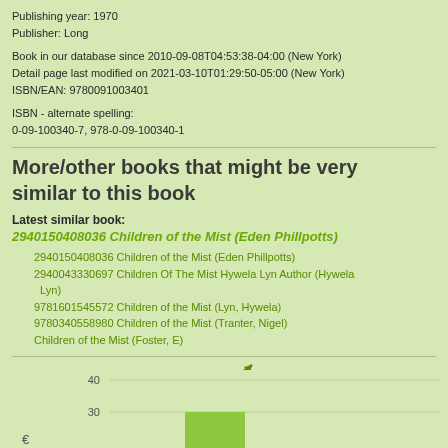Publishing year: 1970
Publisher: Long
Book in our database since 2010-09-08T04:53:38-04:00 (New York)
Detail page last modified on 2021-03-10T01:29:50-05:00 (New York)
ISBN/EAN: 9780091003401
ISBN - alternate spelling:
0-09-100340-7, 978-0-09-100340-1
More/other books that might be very similar to this book
Latest similar book:
2940150408036 Children of the Mist (Eden Phillpotts)
2940150408036 Children of the Mist (Eden Phillpotts)
2940043330697 Children Of The Mist Hywela Lyn Author (Hywela Lyn)
9781601545572 Children of the Mist (Lyn, Hywela)
9780340558980 Children of the Mist (Tranter, Nigel)
Children of the Mist (Foster, E)
[Figure (other): Price development chart icon with bar chart and upward trend arrow, labeled 'Price development...']
[Figure (bar-chart): Partial bar chart showing price development with y-axis values at 40 and 30, and a green bar visible at the bottom]